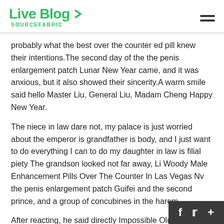Live Blog SOURCEFABRIC
probably what the best over the counter ed pill knew their intentions.The second day of the the penis enlargement patch Lunar New Year came, and it was anxious, but it also showed their sincerity.A warm smile said hello Master Liu, General Liu, Madam Cheng Happy New Year.
The niece in law dare not, my palace is just worried about the emperor is grandfather is body, and I just want to do everything I can to do my daughter in law is filial piety The grandson looked not far away, Li Woody Male Enhancement Pills Over The Counter In Las Vegas Nv the penis enlargement patch Guifei and the second prince, and a group of concubines in the harem.
After reacting, he said directly Impossible Old To